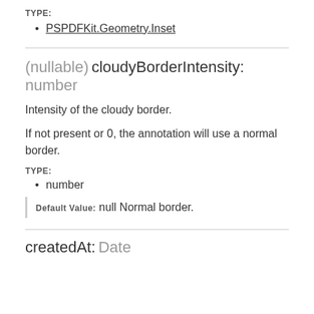TYPE:
PSPDFKit.Geometry.Inset
(nullable) cloudyBorderIntensity: number
Intensity of the cloudy border.
If not present or 0, the annotation will use a normal border.
TYPE:
number
Default Value:   null Normal border.
createdAt: Date